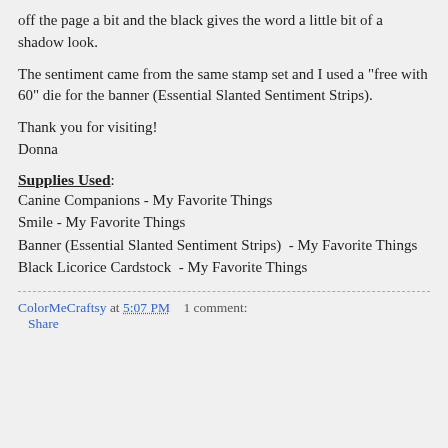off the page a bit and the black gives the word a little bit of a shadow look.
The sentiment came from the same stamp set and I used a "free with 60" die for the banner (Essential Slanted Sentiment Strips).
Thank you for visiting!
Donna
Supplies Used:
Canine Companions - My Favorite Things
Smile - My Favorite Things
Banner (Essential Slanted Sentiment Strips)  - My Favorite Things
Black Licorice Cardstock  - My Favorite Things
ColorMeCraftsy at 5:07 PM   1 comment:
Share